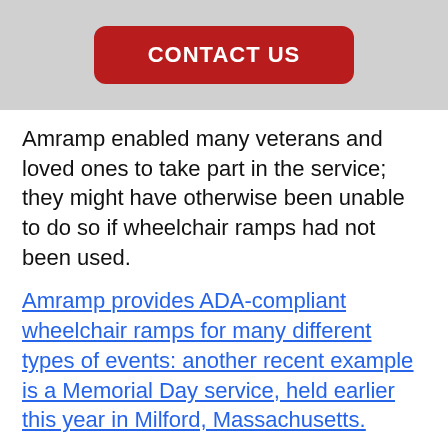[Figure (other): Red rounded rectangle button with white text reading CONTACT US on a light grey background]
Amramp enabled many veterans and loved ones to take part in the service; they might have otherwise been unable to do so if wheelchair ramps had not been used.
Amramp provides ADA-compliant wheelchair ramps for many different types of events: another recent example is a Memorial Day service, held earlier this year in Milford, Massachusetts.
Does your event comply with the Americans with Disabilities Act? Call Amramp today to find out and